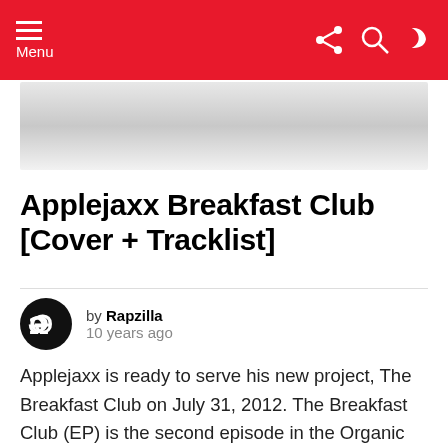Menu
[Figure (other): Banner/advertisement placeholder image with gradient grey background]
Applejaxx Breakfast Club [Cover + Tracklist]
by Rapzilla
10 years ago
Applejaxx is ready to serve his new project, The Breakfast Club on July 31, 2012. The Breakfast Club (EP) is the second episode in the Organic series. The series began with Applejaxx' sophomore album: Organic and the final episode will conclude with an